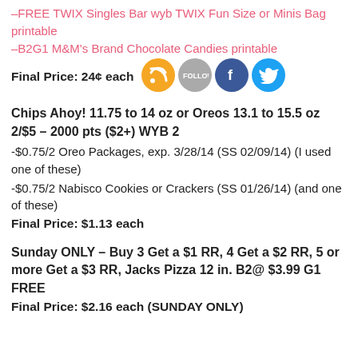–FREE TWIX Singles Bar wyb TWIX Fun Size or Minis Bag printable
–B2G1 M&M's Brand Chocolate Candies printable
Final Price: 24¢ each
[Figure (other): Social media icons: RSS feed (orange), Follow (grey), Facebook (blue), Twitter (blue)]
Chips Ahoy! 11.75 to 14 oz or Oreos 13.1 to 15.5 oz 2/$5 – 2000 pts ($2+) WYB 2
-$0.75/2 Oreo Packages, exp. 3/28/14 (SS 02/09/14) (I used one of these)
-$0.75/2 Nabisco Cookies or Crackers (SS 01/26/14) (and one of these)
Final Price: $1.13 each
Sunday ONLY – Buy 3 Get a $1 RR, 4 Get a $2 RR, 5 or more Get a $3 RR, Jacks Pizza 12 in. B2@ $3.99 G1 FREE
Final Price: $2.16 each (SUNDAY ONLY)